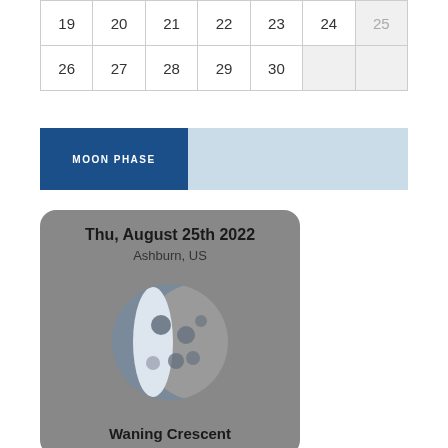| 19 | 20 | 21 | 22 | 23 | 24 | 25 |
| 26 | 27 | 28 | 29 | 30 |  |  |
MOON PHASE
Thu, August 25th 2022
Ashburn, US
[Figure (illustration): Waning Crescent moon illustration showing a crescent shape on the left side of a gray circle with dark spots, on a gray card background]
Waning Crescent